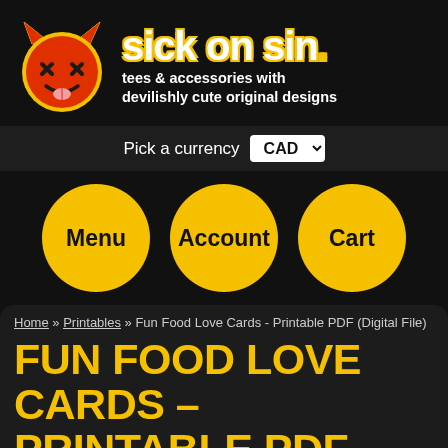[Figure (logo): Sick on Sin devil emoji logo — round red devil face with X eyes, horns, and tongue, with yellow outline stroke. Beside it: 'sick on sin' brand name in bold white with yellow outline, and tagline 'tees & accessories with devilishly cute original designs'.]
Pick a currency  CAD
Menu  Account  Cart
Home » Printables » Fun Food Love Cards - Printable PDF (Digital File)
FUN FOOD LOVE CARDS - PRINTABLE PDF (DIGITAL FILE)